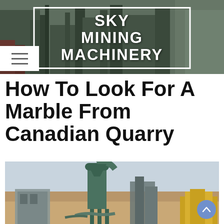SKY MINING MACHINERY
How To Look For A Marble From Canadian Quarry
[Figure (photo): Industrial quarry/mining machinery facility with green dust collector tower, metal framework structures, and yellow equipment in a desert setting with hazy sky]
[Figure (photo): Aerial view of a mining/quarry processing plant facility with industrial machinery and equipment]